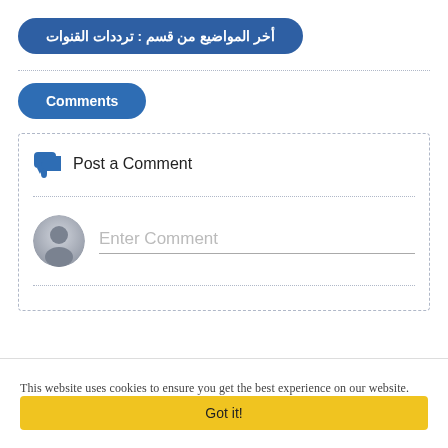أخر المواضيع من قسم : ترددات القنوات
Comments
Post a Comment
Enter Comment
This website uses cookies to ensure you get the best experience on our website.
Got it!